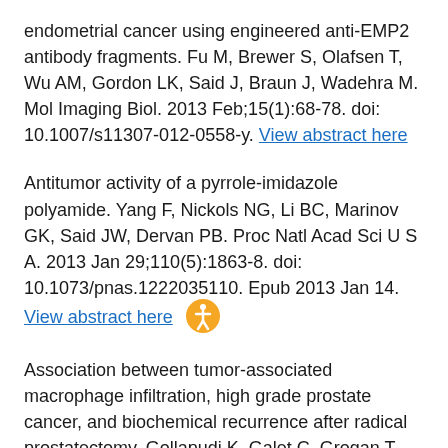endometrial cancer using engineered anti-EMP2 antibody fragments. Fu M, Brewer S, Olafsen T, Wu AM, Gordon LK, Said J, Braun J, Wadehra M. Mol Imaging Biol. 2013 Feb;15(1):68-78. doi: 10.1007/s11307-012-0558-y. View abstract here
Antitumor activity of a pyrrole-imidazole polyamide. Yang F, Nickols NG, Li BC, Marinov GK, Said JW, Dervan PB. Proc Natl Acad Sci U S A. 2013 Jan 29;110(5):1863-8. doi: 10.1073/pnas.1222035110. Epub 2013 Jan 14. View abstract here
Association between tumor-associated macrophage infiltration, high grade prostate cancer, and biochemical recurrence after radical prostatectomy. Gollapudi K, Galet C, Grogan T, Zhang H, Said JW, Huang J, Elashoff D, Freedland SJ, Rettig M,